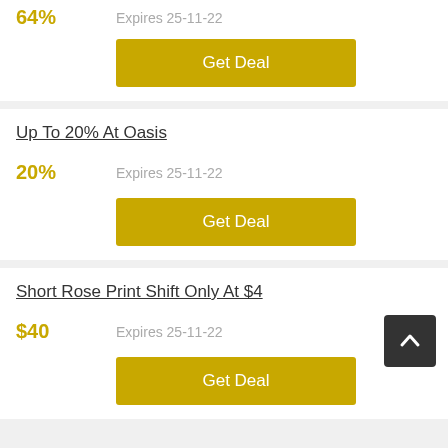64%
Expires 25-11-22
Get Deal
Up To 20% At Oasis
20%
Expires 25-11-22
Get Deal
Short Rose Print Shift Only At $40
$40
Expires 25-11-22
Get Deal